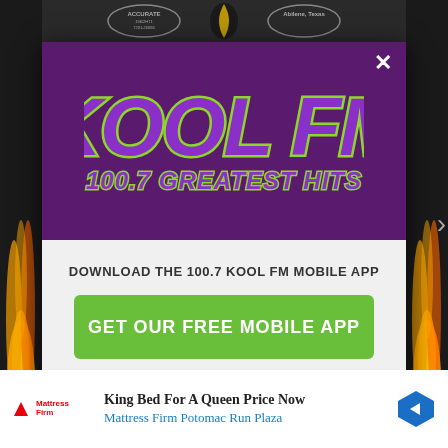[Figure (screenshot): Background showing a dark webpage with flame graphics on the sides and partial logos at the top (Accurate and Abilene Texas logos visible). A modal dialog popup overlays the page.]
[Figure (logo): KOOL FM 100.7 Greatest Hits logo in purple and green on a dark purple background]
DOWNLOAD THE 100.7 KOOL FM MOBILE APP
GET OUR FREE MOBILE APP
Also listen on:  amazon alexa
King Bed For A Queen Price Now
Mattress Firm Potomac Run Plaza